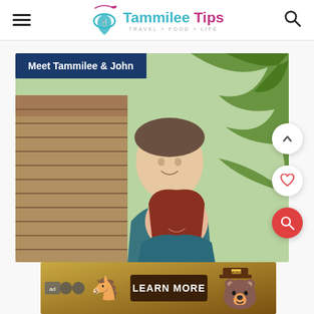Tammilee Tips — TRAVEL+FOOD+LIFE — navigation header with hamburger menu and search icon
[Figure (photo): Photo of Tammilee and John smiling outdoors near tropical palm trees and a thatched structure, with a dark blue badge overlay reading 'Meet Tammilee & John'. Three floating action buttons on the right: up chevron (white circle), heart (white circle, red heart), and search (red circle, white search icon).]
[Figure (other): Advertisement banner with brown/tan background. AdChoices icons on left, a donkey illustration, a dark brown button reading 'LEARN MORE' in white bold text, and a Smokey Bear illustration with ranger hat on right.]